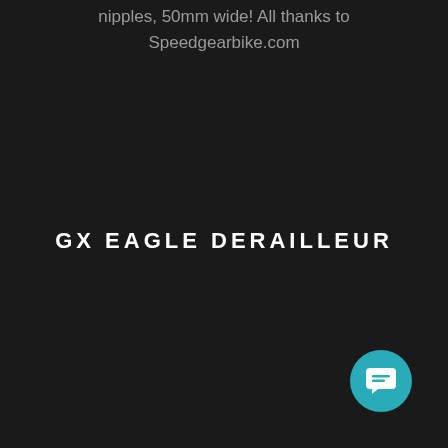nipples, 50mm wide!  All thanks to Speedgearbike.com
GX EAGLE DERAILLEUR
[Figure (other): Teal circular chat/message button icon in bottom right corner]